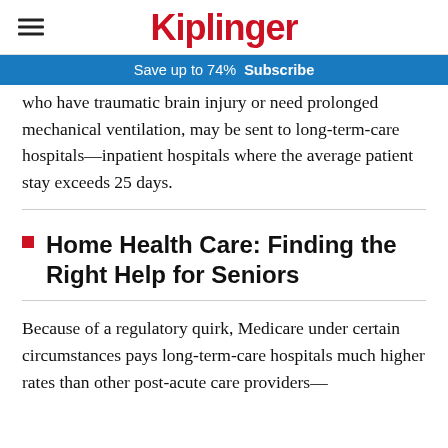Kiplinger
Save up to 74%  Subscribe
who have traumatic brain injury or need prolonged mechanical ventilation, may be sent to long-term-care hospitals—inpatient hospitals where the average patient stay exceeds 25 days.
Home Health Care: Finding the Right Help for Seniors
Because of a regulatory quirk, Medicare under certain circumstances pays long-term-care hospitals much higher rates than other post-acute care providers—